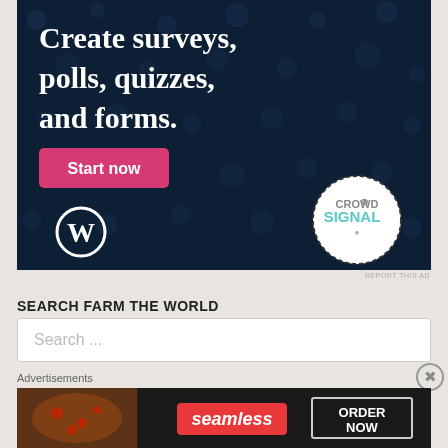[Figure (screenshot): Advertisement banner with dark navy background and dot pattern. Text reads 'Create surveys, polls, quizzes, and forms.' with a pink 'Start now' button, WordPress logo bottom left, and Crowdsignal circular badge bottom right.]
REPORT THIS AD
SEARCH FARM THE WORLD
Search ...
Advertisements
[Figure (screenshot): Seamless food delivery advertisement showing pizza image on left, seamless red logo in center, and ORDER NOW button on right on dark background.]
REPORT THIS AD